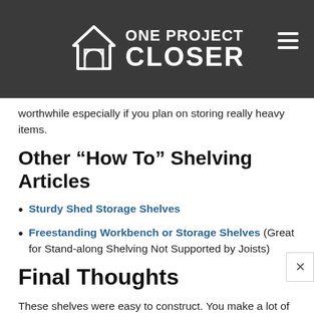[Figure (logo): One Project Closer logo — white house icon with arch doorway and text 'ONE PROJECT CLOSER' on dark grey background with hamburger menu icon]
worthwhile especially if you plan on storing really heavy items.
Other “How To” Shelving Articles
Sturdy Shed Storage Shelves
Freestanding Workbench or Storage Shelves (Great for Stand-along Shelving Not Supported by Joists)
Final Thoughts
These shelves were easy to construct. You make a lot of the same cuts, there are no difficult calculations, and the shelves go together quickly. Best of all, these shelves are easy on the wallet. It would be tough to find better shelves for the price.